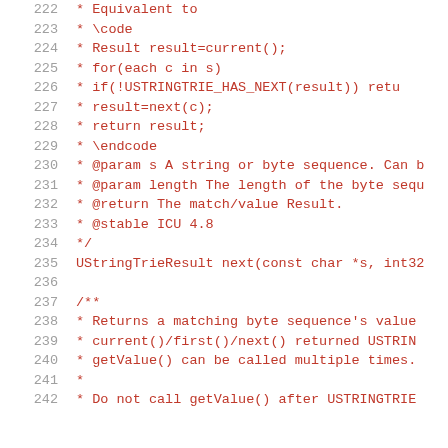222   * Equivalent to
223   * \code
224   * Result result=current();
225   * for(each c in s)
226   *   if(!USTRINGTRIE_HAS_NEXT(result)) retu...
227   *   result=next(c);
228   * return result;
229   * \endcode
230   * @param s A string or byte sequence. Can b...
231   * @param length The length of the byte sequ...
232   * @return The match/value Result.
233   * @stable ICU 4.8
234   * */
235   UStringTrieResult next(const char *s, int32...
236   
237   /**
238   * Returns a matching byte sequence's value...
239   * current()/first()/next() returned USTRIN...
240   * getValue() can be called multiple times.
241   * 
242   * Do not call getValue() after USTRINGTRIE...